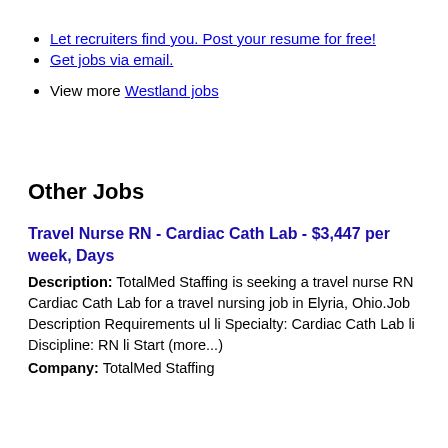Let recruiters find you. Post your resume for free!
Get jobs via email.
View more Westland jobs
Other Jobs
Travel Nurse RN - Cardiac Cath Lab - $3,447 per week, Days
Description: TotalMed Staffing is seeking a travel nurse RN Cardiac Cath Lab for a travel nursing job in Elyria, Ohio.Job Description Requirements ul li Specialty: Cardiac Cath Lab li Discipline: RN li Start (more...)
Company: TotalMed Staffing